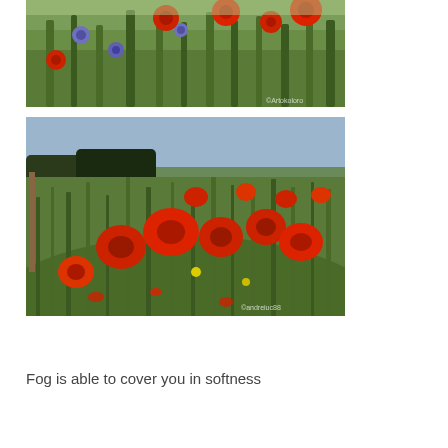[Figure (photo): Overhead photo of a wildflower field with red poppies and blue cornflowers growing among green stems and grasses. Watermark visible in lower right corner.]
[Figure (photo): Close-up photo of a field of red poppies with green grass background. Blue sky and dark treeline visible in the distance. Watermark visible in lower right corner.]
Fog is able to cover you in softness